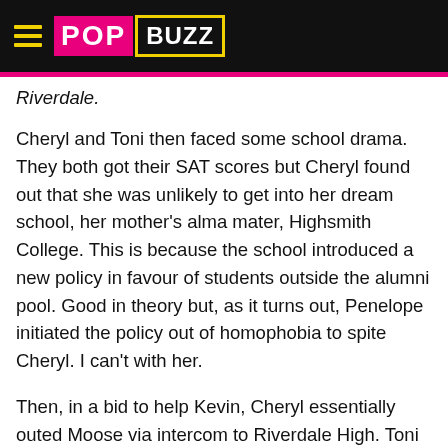POPBUZZ
Riverdale.
Cheryl and Toni then faced some school drama. They both got their SAT scores but Cheryl found out that she was unlikely to get into her dream school, her mother's alma mater, Highsmith College. This is because the school introduced a new policy in favour of students outside the alumni pool. Good in theory but, as it turns out, Penelope initiated the policy out of homophobia to spite Cheryl. I can't with her.
Then, in a bid to help Kevin, Cheryl essentially outed Moose via intercom to Riverdale High. Toni berated Cheryl for being so insensitive and reminded her that she was rejected by her own uncle after coming out. Kevin